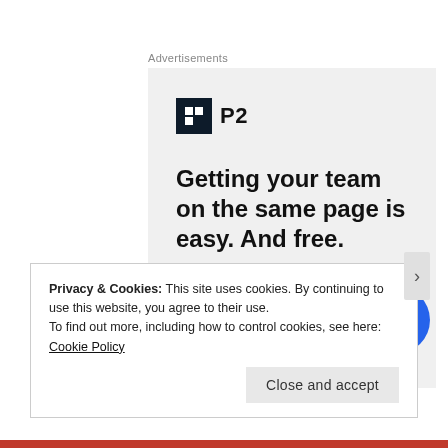Advertisements
[Figure (illustration): P2 advertisement banner with logo, headline text 'Getting your team on the same page is easy. And free.' and circular profile photo avatars with a blue plus button]
Privacy & Cookies: This site uses cookies. By continuing to use this website, you agree to their use.
To find out more, including how to control cookies, see here: Cookie Policy
Close and accept